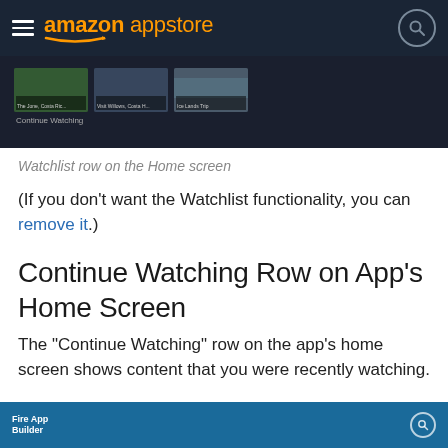amazon appstore
[Figure (screenshot): Screenshot of a streaming app home screen showing video thumbnails in a row with titles and a 'Continue Watching' label at the bottom]
Watchlist row on the Home screen
(If you don't want the Watchlist functionality, you can remove it.)
Continue Watching Row on App's Home Screen
The "Continue Watching" row on the app's home screen shows content that you were recently watching.
[Figure (screenshot): Partial screenshot of Fire App Builder interface showing the bottom portion]